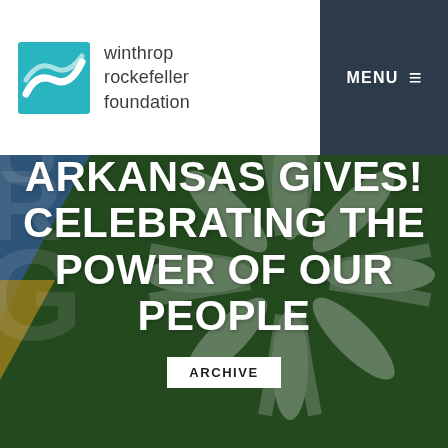[Figure (photo): Background hero image showing a green surface with a large decorative graphic of multiple hands reaching outward in a circular pattern, with partial letters G, R, O visible on the left side, and a diagonal blue/yellow striped element in the upper left corner.]
[Figure (logo): Winthrop Rockefeller Foundation logo: teal/cyan square icon with white wave/leaf shape, next to text reading 'winthrop rockefeller foundation' in dark gray]
ARKANSAS GIVES! CELEBRATING THE POWER OF OUR PEOPLE
ARCHIVE